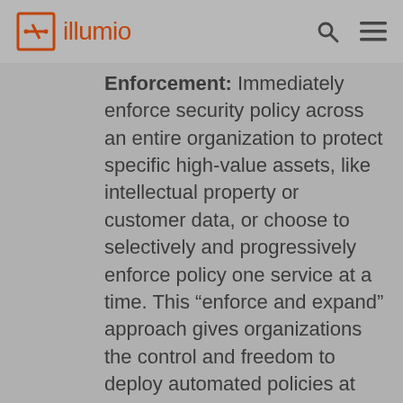illumio
Enforcement: Immediately enforce security policy across an entire organization to protect specific high-value assets, like intellectual property or customer data, or choose to selectively and progressively enforce policy one service at a time. This “enforce and expand” approach gives organizations the control and freedom to deploy automated policies at scale and within minutes, or at their own pace.